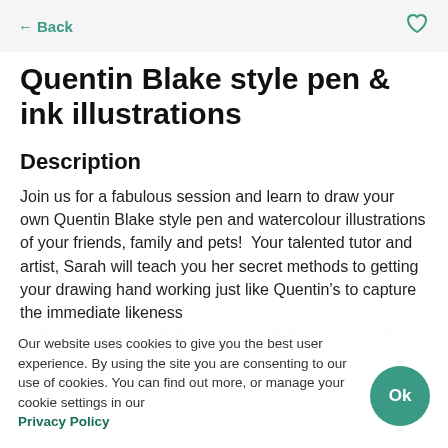← Back
Quentin Blake style pen & ink illustrations
Description
Join us for a fabulous session and learn to draw your own Quentin Blake style pen and watercolour illustrations of your friends, family and pets!  Your talented tutor and artist, Sarah will teach you her secret methods to getting your drawing hand working just like Quentin's to capture the immediate likeness
Our website uses cookies to give you the best user experience. By using the site you are consenting to our use of cookies. You can find out more, or manage your cookie settings in our Privacy Policy